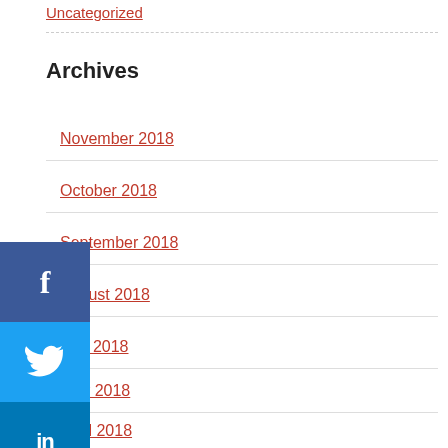Uncategorized
Archives
November 2018
October 2018
September 2018
August 2018
July 2018
May 2018
April 2018
March 2018